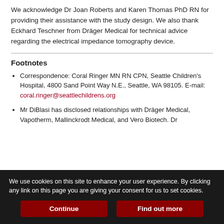We acknowledge Dr Joan Roberts and Karen Thomas PhD RN for providing their assistance with the study design. We also thank Eckhard Teschner from Dräger Medical for technical advice regarding the electrical impedance tomography device.
Footnotes
Correspondence: Coral Ringer MN RN CPN, Seattle Children's Hospital, 4800 Sand Point Way N.E., Seattle, WA 98105. E-mail: coral.ringer@seattlechildrens.org
Mr DiBlasi has disclosed relationships with Dräger Medical, Vapotherm, Mallinckrodt Medical, and Vero Biotech. Dr Goodloe has disclosed relationships with Natus Life Systems...
We use cookies on this site to enhance your user experience. By clicking any link on this page you are giving your consent for us to set cookies.